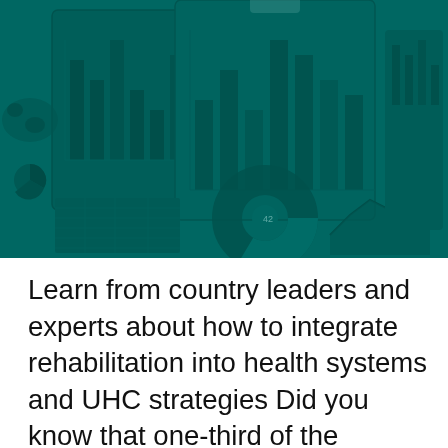[Figure (photo): Teal-tinted photo of financial/data charts on clipboards and tablets — bar charts, pie/donut charts, area charts, data tables — overlaid with a dark teal color filter.]
Learn from country leaders and experts about how to integrate rehabilitation into health systems and UHC strategies Did you know that one-third of the world's population has a disability...